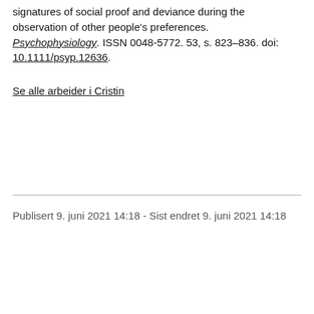signatures of social proof and deviance during the observation of other people's preferences. Psychophysiology. ISSN 0048-5772. 53, s. 823–836. doi: 10.1111/psyp.12636.
Se alle arbeider i Cristin
Publisert 9. juni 2021 14:18 - Sist endret 9. juni 2021 14:18